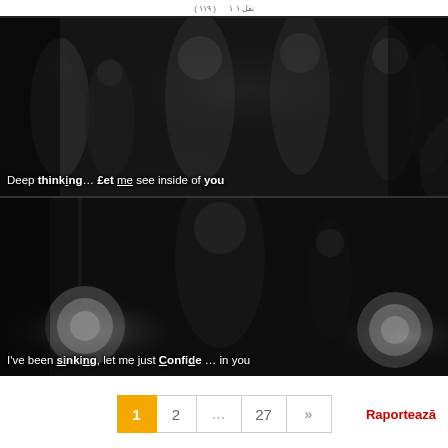( ... ) نقل ...
[Figure (screenshot): Black and white film scene showing people in formal wear at what appears to be a party or event. Subtitle text reads: Deep thinking… £et me see inside of you]
[Figure (screenshot): Black and white film scene showing a man with head bowed in a dimly lit room with two large round lights visible. Subtitle text reads: I've been sinking, let me just Confide … in you]
Deep thinking… £et me see inside of you
I've been sinking, let me just Confide … in you
1  2  ...  27  »  Raportează